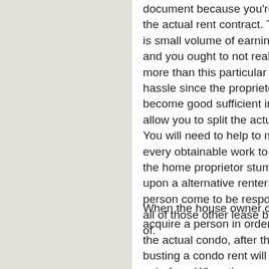document because you're busting the actual rent contract. This really is small volume of earnings to get and you ought to not really dispute more than this particular small hassle since the proprietor has become good sufficient in order to allow you to split the actual rent. You will need to help to make every obtainable work to assist the home proprietor stumbled upon a alternative renter or even a person come to be responsible for all of those other lease because of.
When the house owner can acquire a person in order to lease the actual condo, after that busting a condo rent will likely be pain-free. When they aren't getting any kind of achievement, you will result in the actual lease as well as the resources to maintain lighting as well as warmth inside the area. Water however may be turn off unless of